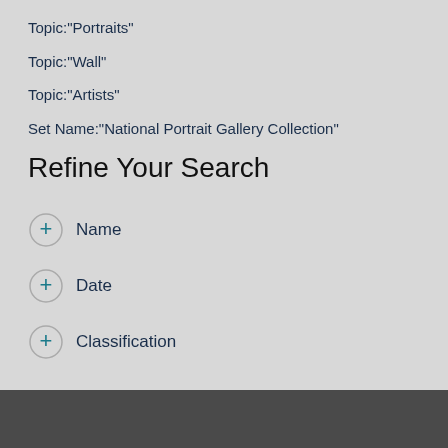Topic:"Portraits"
Topic:"Wall"
Topic:"Artists"
Set Name:"National Portrait Gallery Collection"
Refine Your Search
+ Name
+ Date
+ Classification